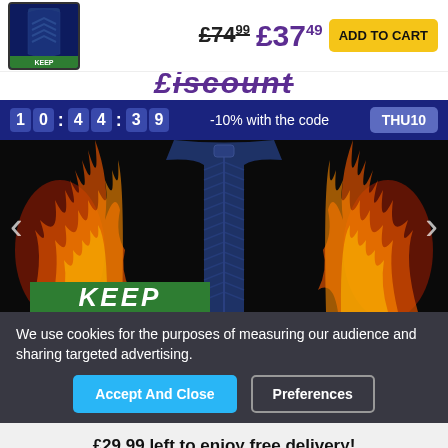[Figure (screenshot): Product thumbnail showing a heated vest jacket on dark background with green label badge]
£74.99 £37.49 ADD TO CART
£Discount
10 : 4 4 : 3 9   -10% with the code   THU10
[Figure (photo): Dark blue quilted heated vest with flames on either side on black background, navigation arrows, and KEEP banner at bottom]
We use cookies for the purposes of measuring our audience and sharing targeted advertising.
Accept And Close   Preferences
£29.99 left to enjoy free delivery!